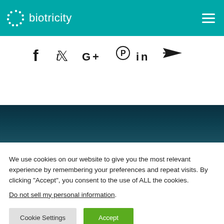biotricity
[Figure (infographic): Social media share icons: Facebook, Twitter, Google+, Pinterest, LinkedIn, and a send/share arrow icon]
[Figure (other): Dark teal decorative band]
We use cookies on our website to give you the most relevant experience by remembering your preferences and repeat visits. By clicking "Accept", you consent to the use of ALL the cookies.
Do not sell my personal information.
Cookie Settings   Accept